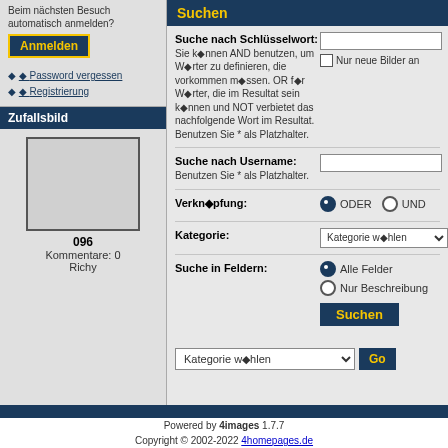Beim nächsten Besuch automatisch anmelden?
Anmelden
Password vergessen
Registrierung
Zufallsbild
[Figure (photo): Random image placeholder box showing image 096]
096
Kommentare: 0
Richy
Suchen
Suche nach Schlüsselwort: Sie können AND benutzen, um Wörter zu definieren, die vorkommen müssen. OR für Wörter, die im Resultat sein können und NOT verbietet das nachfolgende Wort im Resultat. Benutzen Sie * als Platzhalter.
Nur neue Bilder an
Suche nach Username: Benutzen Sie * als Platzhalter.
Verknüpfung: ODER UND
Kategorie: Kategorie wählen
Suche in Feldern: Alle Felder / Nur Beschreibung
Suchen
Kategorie wählen  Go
Powered by 4images 1.7.7 Copyright © 2002-2022 4homepages.de